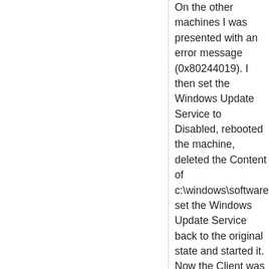On the other machines I was presented with an error message (0x80244019). I then set the Windows Update Service to Disabled, rebooted the machine, deleted the Content of c:\windows\softwaredistribution, set the Windows Update Service back to the original state and started it. Now the Client was able to download and install the updates again.
I guess the Clients would start working again when the next cumulative Update is released. At the Moment they have the current cumulative update cached in its Express-Format which seems to cause our Troubles.
Which pointed me to try this out was an entry in the